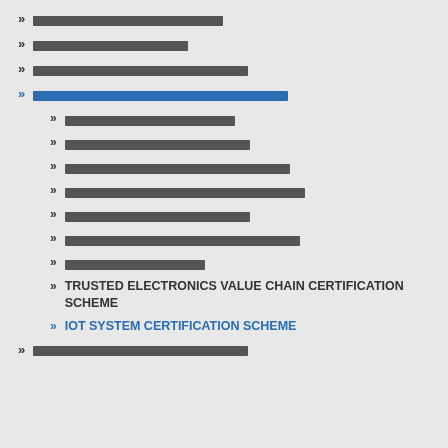[Non-latin text item 1]
[Non-latin text item 2]
[Non-latin text item 3]
[Non-latin text item 4 - blue/active]
[Sub-item: Non-latin text]
[Sub-item: Non-latin text]
[Sub-item: Non-latin text]
[Sub-item: Non-latin text]
[Sub-item: Non-latin text]
[Sub-item: Non-latin text]
[Sub-item: Non-latin text]
TRUSTED ELECTRONICS VALUE CHAIN CERTIFICATION SCHEME
IOT SYSTEM CERTIFICATION SCHEME
[Non-latin text item - bottom]